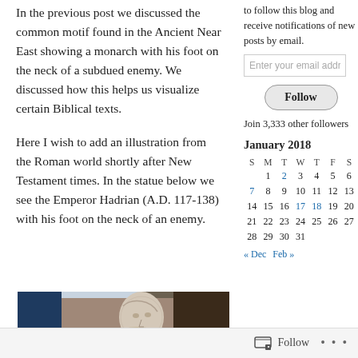In the previous post we discussed the common motif found in the Ancient Near East showing a monarch with his foot on the neck of a subdued enemy. We discussed how this helps us visualize certain Biblical texts.
Here I wish to add an illustration from the Roman world shortly after New Testament times. In the statue below we see the Emperor Hadrian (A.D. 117-138) with his foot on the neck of an enemy.
to follow this blog and receive notifications of new posts by email.
Enter your email addres
Follow
Join 3,333 other followers
January 2018
| S | M | T | W | T | F | S |
| --- | --- | --- | --- | --- | --- | --- |
|  | 1 | 2 | 3 | 4 | 5 | 6 |
| 7 | 8 | 9 | 10 | 11 | 12 | 13 |
| 14 | 15 | 16 | 17 | 18 | 19 | 20 |
| 21 | 22 | 23 | 24 | 25 | 26 | 27 |
| 28 | 29 | 30 | 31 |  |  |  |
« Dec   Feb »
[Figure (photo): Marble statue head and shoulders of Emperor Hadrian, shown in Roman style draped clothing, displayed in a museum setting with blue wall visible.]
Follow  ...